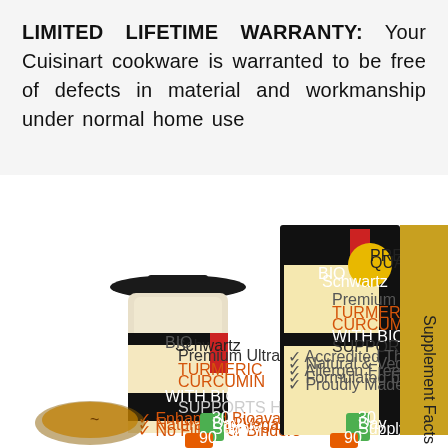LIMITED LIFETIME WARRANTY: Your Cuisinart cookware is warranted to be free of defects in material and workmanship under normal home use
[Figure (photo): Product photo showing BioSchwartz Premium Ultra Pure Turmeric Curcumin with BioPerine supplement bottle (90 capsules, 1500mg) alongside its retail box. The box lists features: Accredited Third Party Testing, Natural & Vegan, Allergen Free & Gluten Free, Formulated by Professionals, Proudly Made in the USA. The bottle lists: Enhanced Bioavailability, Natural and Vegan, No Fillers or Binders, Third Party Tested, Made in USA. 30 Day Supply shown on packaging.]